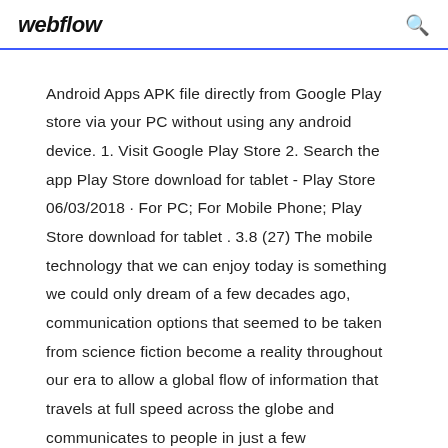webflow
Android Apps APK file directly from Google Play store via your PC without using any android device. 1. Visit Google Play Store 2. Search the app Play Store download for tablet - Play Store 06/03/2018 · For PC; For Mobile Phone; Play Store download for tablet . 3.8 (27) The mobile technology that we can enjoy today is something we could only dream of a few decades ago, communication options that seemed to be taken from science fiction become a reality throughout our era to allow a global flow of information that travels at full speed across the globe and communicates to people in just a few